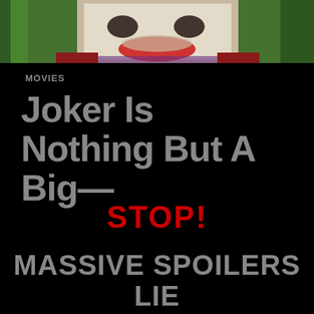[Figure (photo): Partial image of the Joker character from the 2019 film, showing green hair, red painted mouth, and colorful costume, cropped at the top of the page]
MOVIES
Joker Is Nothing But A Big—
STOP!
MASSIVE SPOILERS LIE AHEAD!